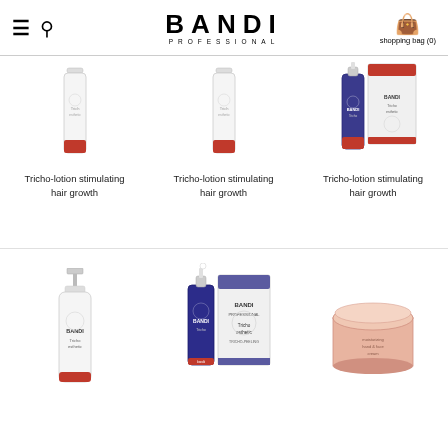BANDI PROFESSIONAL — shopping bag (0)
[Figure (photo): Tricho-lotion stimulating hair growth product - small white bottle]
Tricho-lotion stimulating hair growth
[Figure (photo): Tricho-lotion stimulating hair growth product - white bottle variant 2]
Tricho-lotion stimulating hair growth
[Figure (photo): Tricho-lotion stimulating hair growth product - blue bottle with box set]
Tricho-lotion stimulating hair growth
[Figure (photo): Bandi Professional hair product - white pump bottle]
[Figure (photo): Bandi Professional Tricho-peeling product - blue dropper bottle with box]
[Figure (photo): Bandi Professional moisturizing hand cream jar - pink/peach jar]